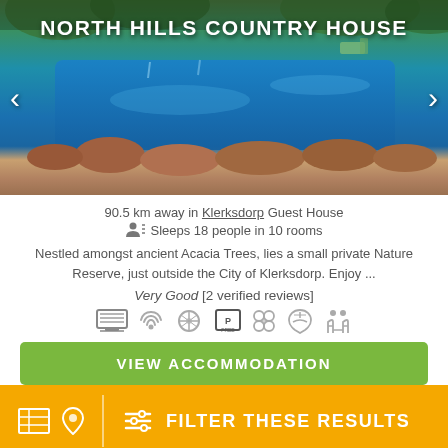[Figure (photo): Swimming pool with blue water, rocky border, and lush green trees in the background at North Hills Country House]
NORTH HILLS COUNTRY HOUSE
90.5 km away in Klerksdorp Guest House
Sleeps 18 people in 10 rooms
Nestled amongst ancient Acacia Trees, lies a small private Nature Reserve, just outside the City of Klerksdorp. Enjoy ...
Very Good [2 verified reviews]
[Figure (infographic): Amenity icons: TV/screen, WiFi, networking/connectivity, parking FREE, pets allowed, swimming pool, family/accessibility]
VIEW ACCOMMODATION
FILTER THESE RESULTS